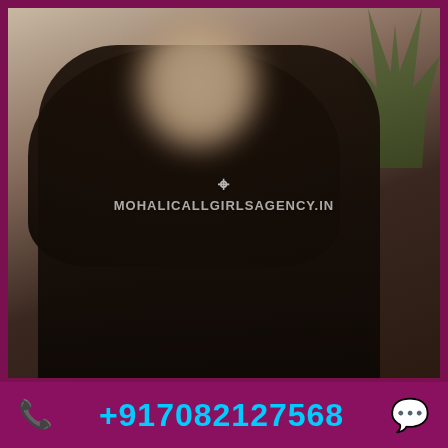[Figure (photo): A woman with long dark hair wearing a black outfit, face blurred, with watermark text 'MOHALICALLGIRLSAGENCY.IN' overlaid on the image. A plant is visible in the background.]
MOHALICALLGIRLSAGENCY.IN
+917082127568